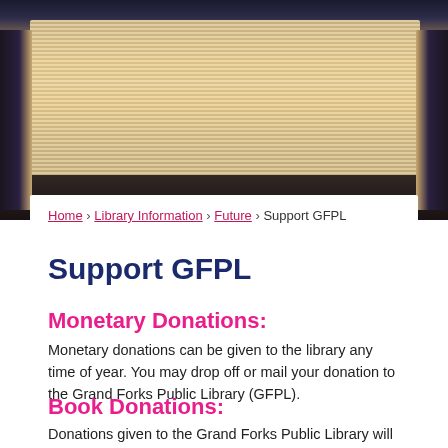[Figure (photo): Background photo of an open book viewed from above showing fanned pages with a dark background, creating a library/literary theme.]
Home › Library Information › Future › Support GFPL
Support GFPL
Monetary Donations:
Monetary donations can be given to the library any time of year. You may drop off or mail your donation to the Grand Forks Public Library (GFPL).
Book Donations:
Donations given to the Grand Forks Public Library will either be added to our collection or given to the Friends of the Library book sale.